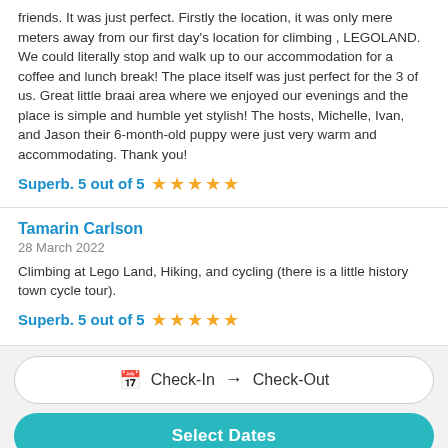friends. It was just perfect. Firstly the location, it was only mere meters away from our first day's location for climbing , LEGOLAND. We could literally stop and walk up to our accommodation for a coffee and lunch break! The place itself was just perfect for the 3 of us. Great little braai area where we enjoyed our evenings and the place is simple and humble yet stylish! The hosts, Michelle, Ivan, and Jason their 6-month-old puppy were just very warm and accommodating. Thank you!
Superb. 5 out of 5 ★★★★★
Tamarin Carlson
28 March 2022
Climbing at Lego Land, Hiking, and cycling (there is a little history town cycle tour).
Superb. 5 out of 5 ★★★★★
Check-In → Check-Out
Select Dates